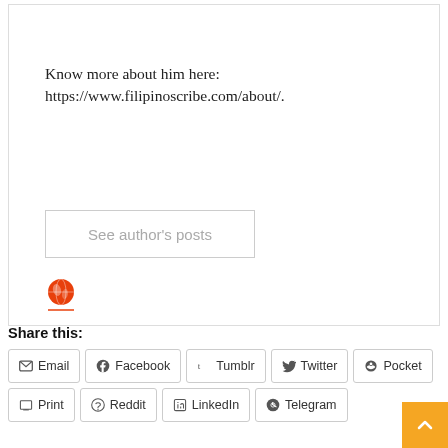Know more about him here: https://www.filipinoscribe.com/about/.
See author's posts
[Figure (other): Globe/earth icon in orange-red color with an underline, representing an author avatar or website icon]
Share this:
Email
Facebook
Tumblr
Twitter
Pocket
Print
Reddit
LinkedIn
Telegram